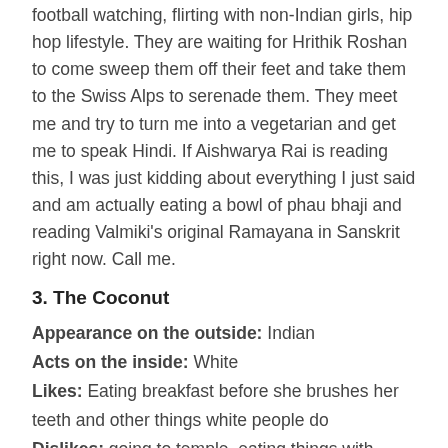football watching, flirting with non-Indian girls, hip hop lifestyle. They are waiting for Hrithik Roshan to come sweep them off their feet and take them to the Swiss Alps to serenade them. They meet me and try to turn me into a vegetarian and get me to speak Hindi. If Aishwarya Rai is reading this, I was just kidding about everything I just said and am actually eating a bowl of phau bhaji and reading Valmiki’s original Ramayana in Sanskrit right now. Call me.
3. The Coconut
Appearance on the outside: Indian
Acts on the inside: White
Likes: Eating breakfast before she brushes her teeth and other things white people do
Dislikes: going to temple, eating things with chutney, Indian guys
This girl is the opposite of the FOB. She was probably raised where there weren’t a lot of other Indian people and always thought being Indian wasn’t cool. Now I realize that I am not Mr. India myself or anything, but I embrace Indian culture a good deal while these girls seem to